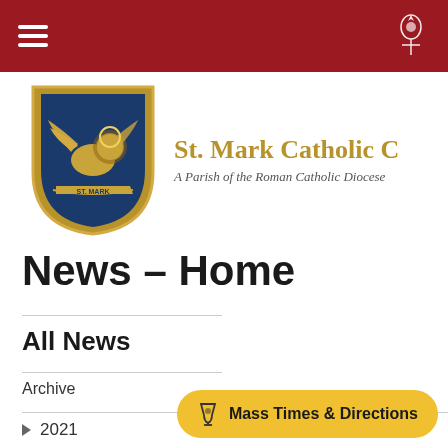St. Mark Catholic Church — Navigation header bar
[Figure (logo): St. Mark Catholic Church shield logo — blue shield with winged lion (St. Mark symbol) in gold, with banner reading ST. MARK]
St. Mark Catholic C[hurch]
A Parish of the Roman Catholic Diocese
News – Home
All News
Archive
▶ 2021
Mass Times & Directions